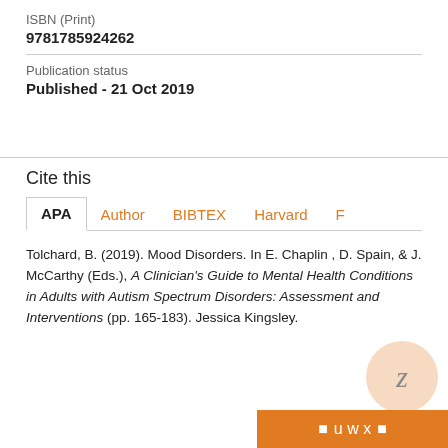ISBN (Print)
9781785924262
Publication status
Published - 21 Oct 2019
Cite this
APA  Author  BIBTEX  Harvard  F
Tolchard, B. (2019). Mood Disorders. In E. Chaplin , D. Spain, & J. McCarthy (Eds.), A Clinician's Guide to Mental Health Conditions in Adults with Autism Spectrum Disorders: Assessment and Interventions (pp. 165-183). Jessica Kingsley.